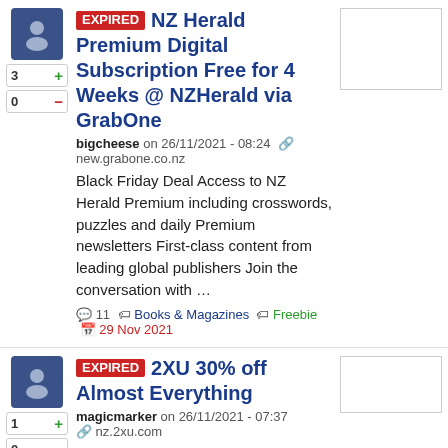EXPIRED NZ Herald Premium Digital Subscription Free for 4 Weeks @ NZHerald via GrabOne
bigcheese on 26/11/2021 - 08:24  new.grabone.co.nz
Black Friday Deal Access to NZ Herald Premium including crosswords, puzzles and daily Premium newsletters First-class content from leading global publishers Join the conversation with …
11  Books & Magazines  Freebie  29 Nov 2021
EXPIRED 2XU 30% off Almost Everything
magicmarker on 26/11/2021 - 07:37  nz.2xu.com
30% off selected styles, excluding Light Speed and Force compression, wetsuits, Triathlon range and already reduced Outlet styles.
0  Sports & Outdoors  10 Ja